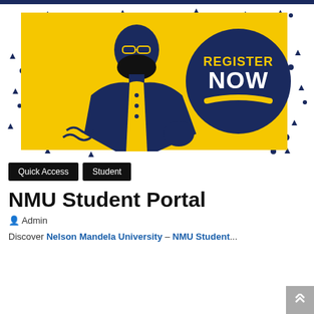[Figure (illustration): Banner image showing a masked man in yellow and navy blue illustration style with scattered geometric shapes (triangles, dots) in the background. A dark navy circle on the right displays 'REGISTER NOW' in bold white/yellow text.]
Quick Access
Student
NMU Student Portal
Admin
Discover Nelson Mandela University – NMU Student...